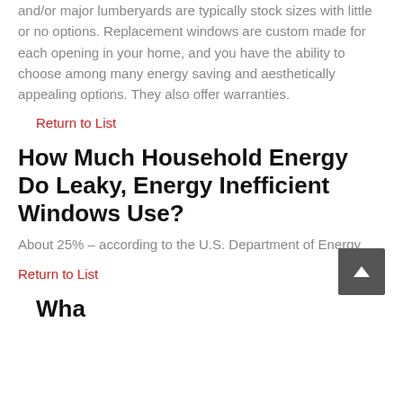and/or major lumberyards are typically stock sizes with little or no options. Replacement windows are custom made for each opening in your home, and you have the ability to choose among many energy saving and aesthetically appealing options. They also offer warranties.
Return to List
How Much Household Energy Do Leaky, Energy Inefficient Windows Use?
About 25% – according to the U.S. Department of Energy
Return to List
What Are Energy Efficient...